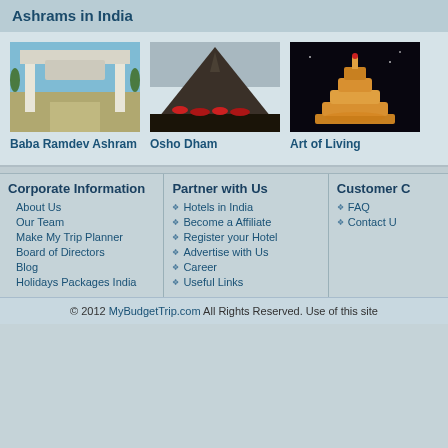Ashrams in India
[Figure (photo): Baba Ramdev Ashram entrance gate with blue sky]
Baba Ramdev Ashram
[Figure (photo): Osho Dham dark pyramid structure with red flowers]
Osho Dham
[Figure (photo): Art of Living illuminated tiered tower at night]
Art of Living
Corporate Information
About Us
Our Team
Make My Trip Planner
Board of Directors
Blog
Holidays Packages India
Partner with Us
Hotels in India
Become a Affiliate
Register your Hotel
Advertise with Us
Career
Useful Links
Customer C
FAQ
Contact Us
© 2012 MyBudgetTrip.com All Rights Reserved. Use of this site